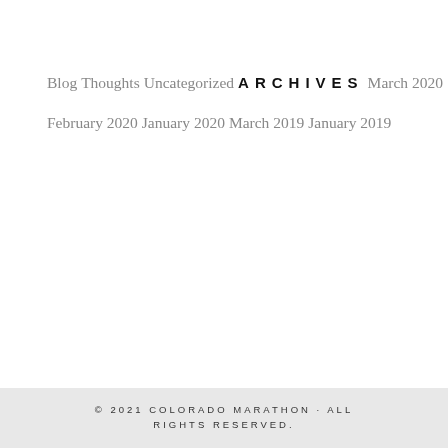Blog
Thoughts
Uncategorized
ARCHIVES
March 2020
February 2020
January 2020
March 2019
January 2019
© 2021 COLORADO MARATHON · ALL RIGHTS RESERVED.